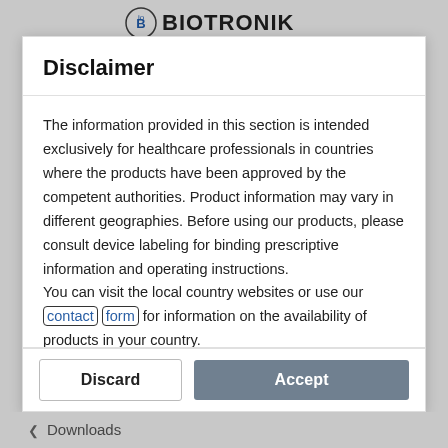[Figure (logo): BIOTRONIK logo with circular B/O icon and bold text BIOTRONIK]
Disclaimer
The information provided in this section is intended exclusively for healthcare professionals in countries where the products have been approved by the competent authorities. Product information may vary in different geographies. Before using our products, please consult device labeling for binding prescriptive information and operating instructions.
You can visit the local country websites or use our contact form for information on the availability of products in your country.
Discard
Accept
Downloads